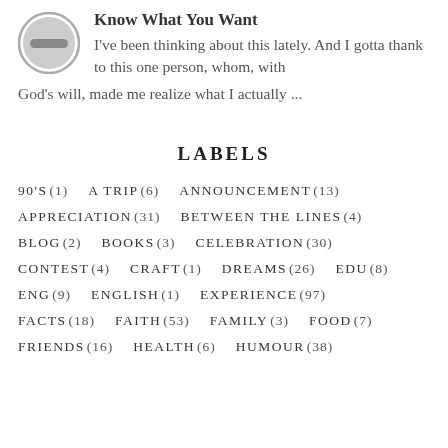Know What You Want
I've been thinking about this lately. And I gotta thank to this one person, whom, with God's will, made me realize what I actually ...
LABELS
90'S (1)   A TRIP (6)   ANNOUNCEMENT (13)
APPRECIATION (31)   BETWEEN THE LINES (4)
BLOG (2)   BOOKS (3)   CELEBRATION (30)
CONTEST (4)   CRAFT (1)   DREAMS (26)   EDU (8)
ENG (9)   ENGLISH (1)   EXPERIENCE (97)
FACTS (18)   FAITH (53)   FAMILY (3)   FOOD (7)
FRIENDS (16)   HEALTH (6)   HUMOUR (38)